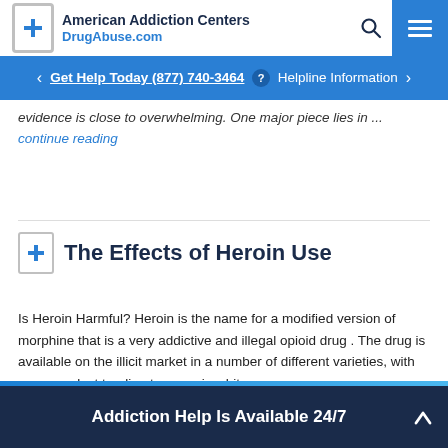American Addiction Centers DrugAbuse.com
Get Help Today (877) 740-3464 ? Helpline Information
evidence is close to overwhelming. One major piece lies in ... continue reading
The Effects of Heroin Use
Is Heroin Harmful? Heroin is the name for a modified version of morphine that is a very addictive and illegal opioid drug . The drug is available on the illicit market in a number of different varieties, with purer product tending to occur in white ...
Addiction Help Is Available 24/7